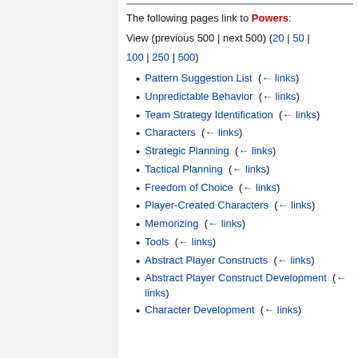The following pages link to Powers:
View (previous 500 | next 500) (20 | 50 | 100 | 250 | 500)
Pattern Suggestion List (← links)
Unpredictable Behavior (← links)
Team Strategy Identification (← links)
Characters (← links)
Strategic Planning (← links)
Tactical Planning (← links)
Freedom of Choice (← links)
Player-Created Characters (← links)
Memorizing (← links)
Tools (← links)
Abstract Player Constructs (← links)
Abstract Player Construct Development (← links)
Character Development (← links)